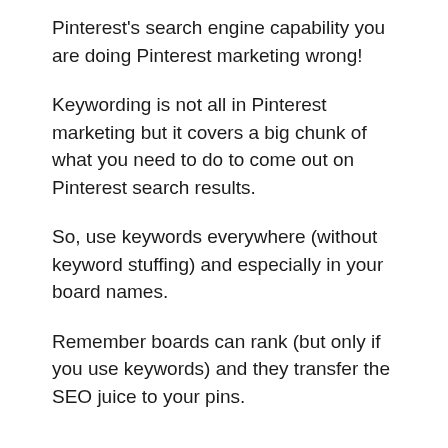Pinterest's search engine capability you are doing Pinterest marketing wrong!
Keywording is not all in Pinterest marketing but it covers a big chunk of what you need to do to come out on Pinterest search results.
So, use keywords everywhere (without keyword stuffing) and especially in your board names.
Remember boards can rank (but only if you use keywords) and they transfer the SEO juice to your pins.